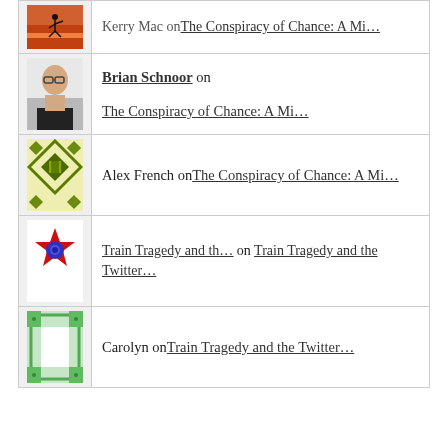Brian Schnoor on The Conspiracy of Chance: A Mi…
Alex French on The Conspiracy of Chance: A Mi…
Train Tragedy and th… on Train Tragedy and the Twitter…
Carolyn on Train Tragedy and the Twitter…
ARCHIVES
December 2018